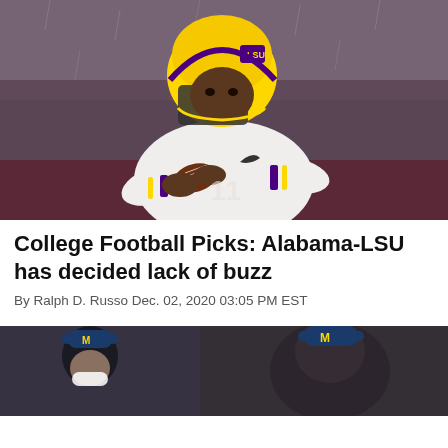[Figure (photo): LSU quarterback wearing white jersey number 11 and gold helmet, holding football in passing stance on a rainy night game]
College Football Picks: Alabama-LSU has decided lack of buzz
By Ralph D. Russo Dec. 02, 2020 03:05 PM EST
[Figure (photo): Person wearing Michigan baseball cap, partially visible, dark background]